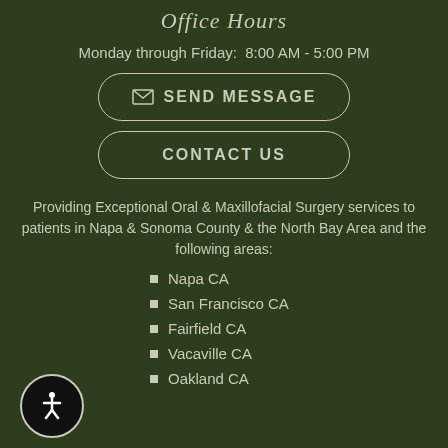Office Hours
Monday through Friday:  8:00 AM - 5:00 PM
[Figure (other): SEND MESSAGE button with envelope icon, rounded rectangle border]
[Figure (other): CONTACT US button, rounded rectangle border]
Providing Exceptional Oral & Maxillofacial Surgery services to patients in Napa & Sonoma County & the North Bay Area and the following areas:
Napa CA
San Francisco CA
Fairfield CA
Vacaville CA
Oakland CA
[Figure (other): Wheelchair accessibility icon in circular black badge]